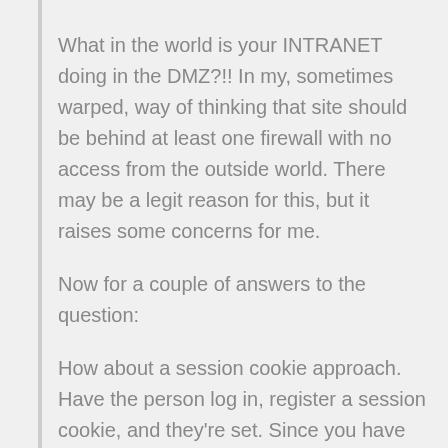What in the world is your INTRANET doing in the DMZ?!! In my, sometimes warped, way of thinking that site should be behind at least one firewall with no access from the outside world. There may be a legit reason for this, but it raises some concerns for me.
Now for a couple of answers to the question:
How about a session cookie approach. Have the person log in, register a session cookie, and they're set. Since you have AD this shouldn't be that hard to do. So what if is another time they have